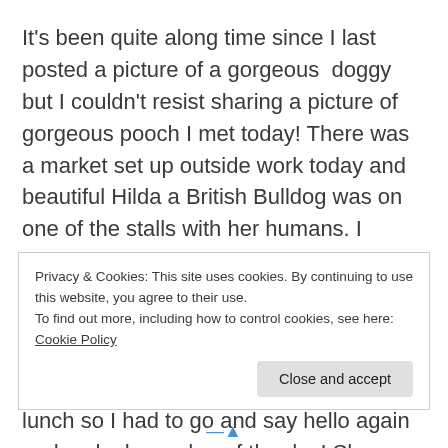It's been quite along time since I last posted a picture of a gorgeous  doggy but I couldn't resist sharing a picture of gorgeous pooch I met today! There was a market set up outside work today and beautiful Hilda a British Bulldog was on one of the stalls with her humans. I thought of an excuse to go outside a meet her and I gave her a good fuss, what a beautiful friendly girl!

I walked past later in the day after my lunch so I had to go and say hello again and make her a dog of the day! She was in her little bed when I went over but she ended
Privacy & Cookies: This site uses cookies. By continuing to use this website, you agree to their use.
To find out more, including how to control cookies, see here: Cookie Policy